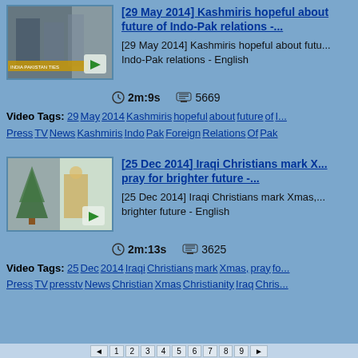[Figure (screenshot): Video thumbnail for Kashmiris hopeful about future of Indo-Pak relations]
[29 May 2014] Kashmiris hopeful about future of Indo-Pak relations -...
[29 May 2014] Kashmiris hopeful about future of Indo-Pak relations - English
2m:9s  5669
Video Tags: 29 May 2014 Kashmiris hopeful about future of I... Press TV News Kashmiris Indo Pak Foreign Relations Of Pak
[Figure (screenshot): Video thumbnail for Iraqi Christians mark Xmas, pray for brighter future]
[25 Dec 2014] Iraqi Christians mark Xmas, pray for brighter future -...
[25 Dec 2014] Iraqi Christians mark Xmas, pray for brighter future - English
2m:13s  3625
Video Tags: 25 Dec 2014 Iraqi Christians mark Xmas, pray fo... Press TV presstv News Christian Xmas Christianity Iraq Chris